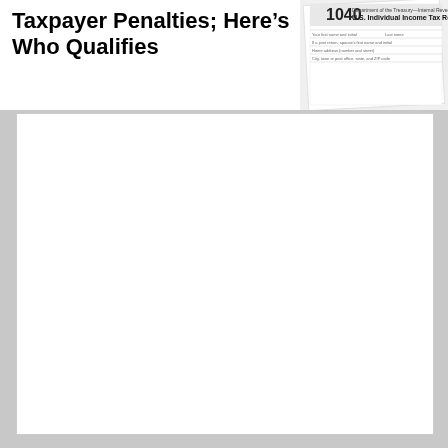Taxpayer Penalties; Here's Who Qualifies
[Figure (photo): Photo of IRS Form 1040 U.S. Individual Income Tax Return document]